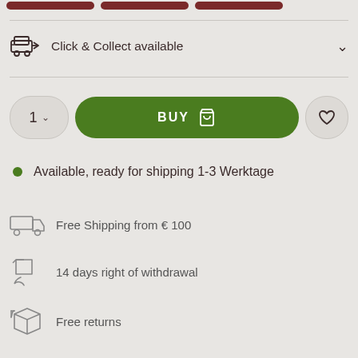[Figure (screenshot): Top navigation bar with dark red pill-shaped buttons partially visible]
Click & Collect available
BUY
Available, ready for shipping 1-3 Werktage
Free Shipping from € 100
14 days right of withdrawal
Free returns